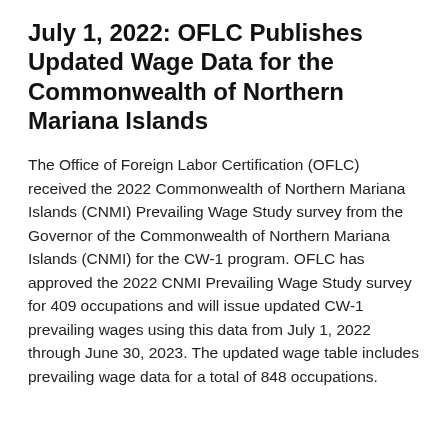July 1, 2022: OFLC Publishes Updated Wage Data for the Commonwealth of Northern Mariana Islands
The Office of Foreign Labor Certification (OFLC) received the 2022 Commonwealth of Northern Mariana Islands (CNMI) Prevailing Wage Study survey from the Governor of the Commonwealth of Northern Mariana Islands (CNMI) for the CW-1 program. OFLC has approved the 2022 CNMI Prevailing Wage Study survey for 409 occupations and will issue updated CW-1 prevailing wages using this data from July 1, 2022 through June 30, 2023. The updated wage table includes prevailing wage data for a total of 848 occupations.